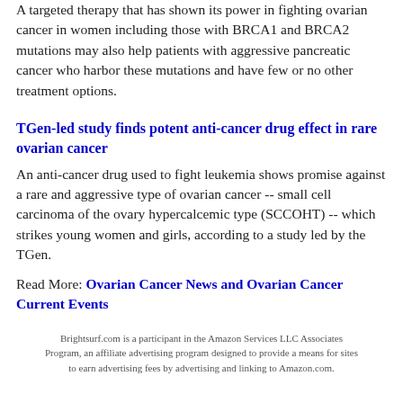A targeted therapy that has shown its power in fighting ovarian cancer in women including those with BRCA1 and BRCA2 mutations may also help patients with aggressive pancreatic cancer who harbor these mutations and have few or no other treatment options.
TGen-led study finds potent anti-cancer drug effect in rare ovarian cancer
An anti-cancer drug used to fight leukemia shows promise against a rare and aggressive type of ovarian cancer -- small cell carcinoma of the ovary hypercalcemic type (SCCOHT) -- which strikes young women and girls, according to a study led by the TGen.
Read More: Ovarian Cancer News and Ovarian Cancer Current Events
Brightsurf.com is a participant in the Amazon Services LLC Associates Program, an affiliate advertising program designed to provide a means for sites to earn advertising fees by advertising and linking to Amazon.com.